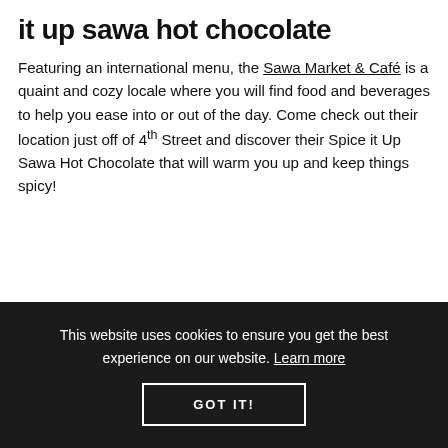it up sawa hot chocolate
Featuring an international menu, the Sawa Market & Café is a quaint and cozy locale where you will find food and beverages to help you ease into or out of the day. Come check out their location just off of 4th Street and discover their Spice it Up Sawa Hot Chocolate that will warm you up and keep things spicy!
This website uses cookies to ensure you get the best experience on our website. Learn more
GOT IT!